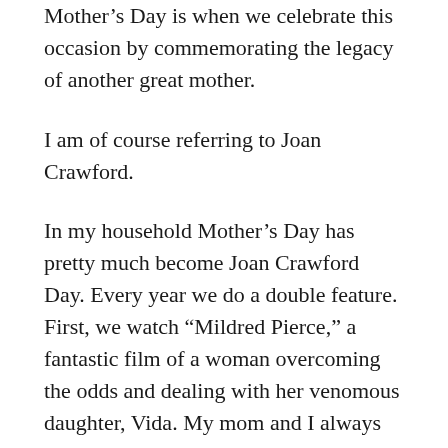Mother's Day is when we celebrate this occasion by commemorating the legacy of another great mother.
I am of course referring to Joan Crawford.
In my household Mother's Day has pretty much become Joan Crawford Day. Every year we do a double feature. First, we watch “Mildred Pierce,” a fantastic film of a woman overcoming the odds and dealing with her venomous daughter, Vida. My mom and I always cheer Mildred on because she deals with everything with such grace, class, and style (I have not yet seen the recent mini-series, but either way this is specific to the great Miss Crawford). We particularly stand up and cheer during Mildred and Vida’s fight.